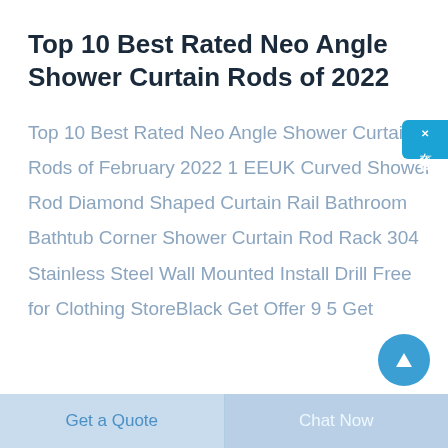Top 10 Best Rated Neo Angle Shower Curtain Rods of 2022
Top 10 Best Rated Neo Angle Shower Curtain Rods of February 2022 1 EEUK Curved Shower Rod Diamond Shaped Curtain Rail Bathroom Bathtub Corner Shower Curtain Rod Rack 304 Stainless Steel Wall Mounted Install Drill Free for Clothing StoreBlack Get Offer 9 5 Get